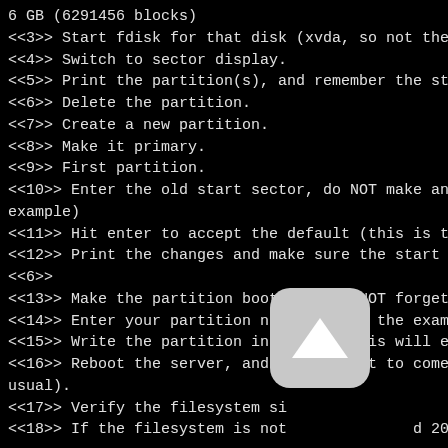6 GB (6291456 blocks)
<<3>> Start fdisk for that disk (xvda, so not the
<<4>> Switch to sector display.
<<5>> Print the partition(s), and remember the st
<<6>> Delete the partition.
<<7>> Create a new partition.
<<8>> Make it primary.
<<9>> First partition.
<<10>> Enter the old start sector, do NOT make an
example)
<<11>> Hit enter to accept the default (this is t
<<12>> Print the changes and make sure the start
<<6>>
<<13>> Make the partition bootable. do NOT forget
<<14>> Enter your partition number (1 in the exam
<<15>> Write the partition info back, this will e
<<16>> Reboot the server, and wait for it to come
usual).
<<17>> Verify the filesystem si
<<18>> If the filesystem is not d 20Gb as ex

# df -h <<1>>